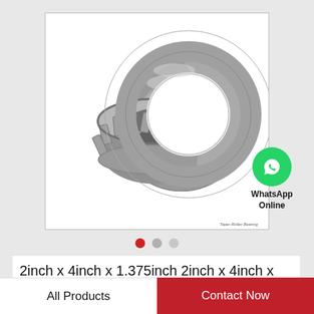[Figure (photo): Taper roller bearing assembly showing cone/roller assembly and outer ring cup, metallic gray, on white background with 'Taper Roller Bearing' watermark text]
WhatsApp Online
2inch x 4inch x 1.375inch 2inch x 4inch x 1.375inch QBL 529/522-qbl Taper Roller…
All Products
Contact Now